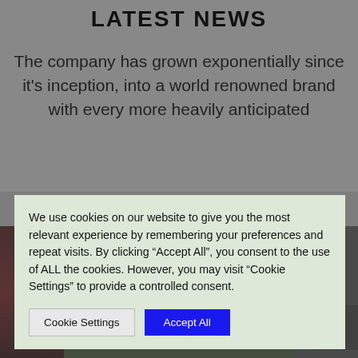LATEST NEWS
The company has grown exponentially since it's inception, into a world renowned brand with every more heavily anticipated
[Figure (screenshot): Cookie consent modal overlay with text and two buttons: Cookie Settings and Accept All]
We use cookies on our website to give you the most relevant experience by remembering your preferences and repeat visits. By clicking “Accept All”, you consent to the use of ALL the cookies. However, you may visit "Cookie Settings" to provide a controlled consent.
[Figure (photo): Dark photo strip showing partial images including a white triangular shape against a dark outdoor background]